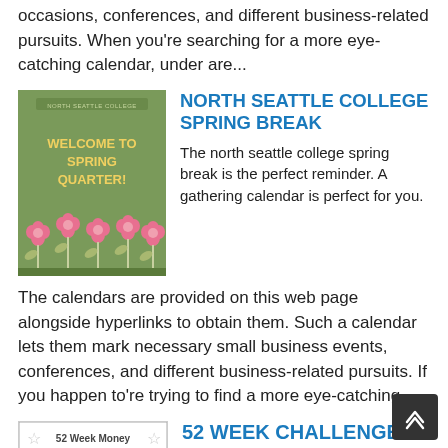occasions, conferences, and different business-related pursuits. When you're searching for a more eye-catching calendar, under are...
[Figure (illustration): Green poster for North Seattle College with pink flowers and text 'WELCOME TO SPRING QUARTER!']
NORTH SEATTLE COLLEGE SPRING BREAK
The north seattle college spring break is the perfect reminder. A gathering calendar is perfect for you.
The calendars are provided on this web page alongside hyperlinks to obtain them. Such a calendar lets them mark necessary small business events, conferences, and different business-related pursuits. If you happen to're trying to find a more eye-catching...
[Figure (illustration): Thumbnail image for 52 Week Money Challenge with stars]
52 WEEK CHALLENGE